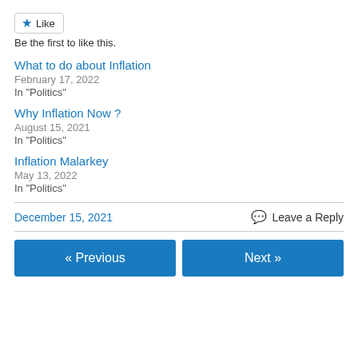Like
Be the first to like this.
What to do about Inflation
February 17, 2022
In "Politics"
Why Inflation Now ?
August 15, 2021
In "Politics"
Inflation Malarkey
May 13, 2022
In "Politics"
December 15, 2021
Leave a Reply
« Previous
Next »